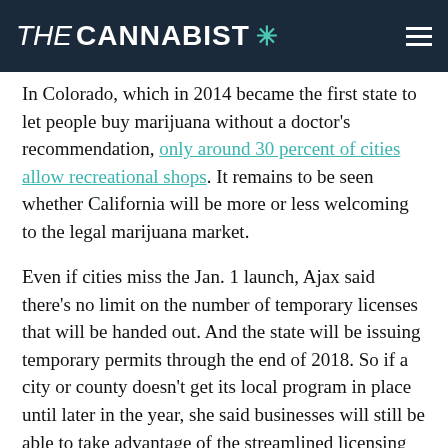THE CANNABIST
In Colorado, which in 2014 became the first state to let people buy marijuana without a doctor's recommendation, only around 30 percent of cities allow recreational shops. It remains to be seen whether California will be more or less welcoming to the legal marijuana market.
Even if cities miss the Jan. 1 launch, Ajax said there's no limit on the number of temporary licenses that will be handed out. And the state will be issuing temporary permits through the end of 2018. So if a city or county doesn't get its local program in place until later in the year, she said businesses will still be able to take advantage of the streamlined licensing option.
Ajax has been working on marijuana licensing since before voters passed Prop. 64. Initially, her job was to